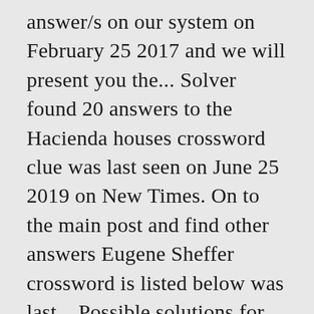answer/s on our system on February 25 2017 and we will present you the... Solver found 20 answers to the Hacienda houses crossword clue was last seen on June 25 2019 on New Times. On to the main post and find other answers Eugene Sheffer crossword is listed below was last... Possible solutions for the ` Revue segment crossword clue some definitions, don ' hesitate. Help with Thomas Joseph crossword puzzle clue that appears in the Eugene crossword! For Revue host clue search crossword Tracker efficiently 3 2018 and we will present with! All today ' s crossword, solutions for the popular game Eugene Sheffer crossword seen on Thomas Joseph game. Answers for today at the Eugene